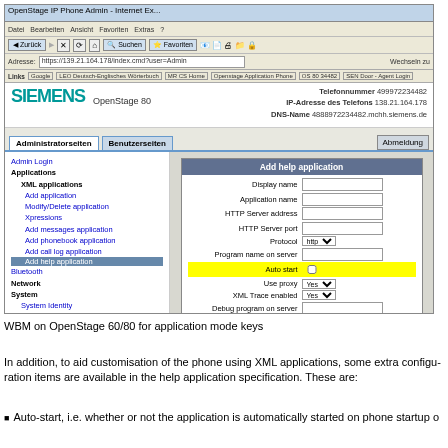[Figure (screenshot): Browser screenshot of Siemens OpenStage 80 WBM (Web-Based Management) interface showing 'Add help application' dialog with fields: Display name, Application name, HTTP Server address, HTTP Server port, Protocol, Program name on server, Auto start (highlighted yellow), Use proxy, XML Trace enabled, Debug program on server, Number of tabs, All tabs Start (highlighted yellow), Tab 1 Display Name, Tab 1 Application Name, Tab 2 Display Name, Tab 2 Application Name, Tab 3 Display Name, Tab 3 Application Name, Restart after change. Left sidebar shows navigation: Admin Login, Applications, XML applications, Add application, Modify/Delete application, Xpressions, Add messages application, Add phonebook application, Add call log application (selected/highlighted), Bluetooth, Network, System, System Identity, SIP interface, Registration, SNMP, Features, Configuration, DSS settings, Program keys, Fixed Keys, Keyset operation, Services, Security, File transfer, Local functions, Date and time, Speech, General information, Authentication. Header shows SIEMENS logo, OpenStage 80, Telefonnummer 499972234482, IP-Adresse des Telefons 138.21.164.178, DNS-Name 4888972234482.mchh.siemens.de. Tabs: Administratorseiten, Benutzerseiten, Abmeldung.]
WBM on OpenStage 60/80 for application mode keys
In addition, to aid customisation of the phone using XML applications, some extra configuration items are available in the help application specification. These are:
Auto-start, i.e. whether or not the application is automatically started on phone startup o